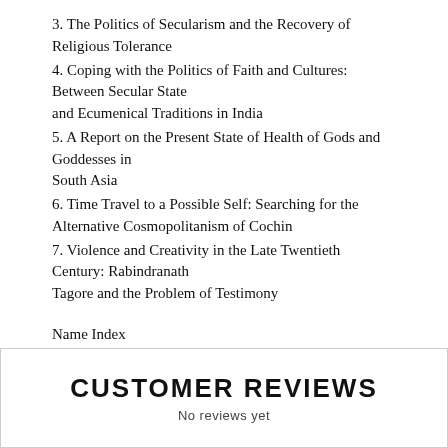3. The Politics of Secularism and the Recovery of Religious Tolerance
4. Coping with the Politics of Faith and Cultures: Between Secular State and Ecumenical Traditions in India
5. A Report on the Present State of Health of Gods and Goddesses in South Asia
6. Time Travel to a Possible Self: Searching for the Alternative Cosmopolitanism of Cochin
7. Violence and Creativity in the Late Twentieth Century: Rabindranath Tagore and the Problem of Testimony
Name Index
Subject Index
CUSTOMER REVIEWS